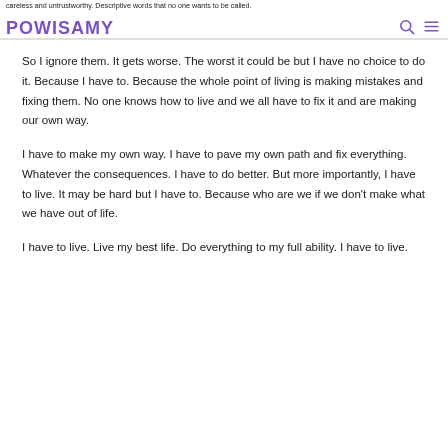POWISAMY
careless and untrustworthy. Descriptive words that no one wants to be called.
So I ignore them. It gets worse. The worst it could be but I have no choice to do it. Because I have to. Because the whole point of living is making mistakes and fixing them. No one knows how to live and we all have to fix it and are making our own way.
I have to make my own way. I have to pave my own path and fix everything. Whatever the consequences. I have to do better. But more importantly, I have to live. It may be hard but I have to. Because who are we if we don't make what we have out of life.
I have to live. Live my best life. Do everything to my full ability. I have to live.